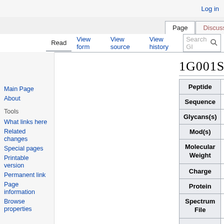Log in
Page | Discussion | Read | View form | View source | View history | Search GI
1G001S75
| Field | Value |
| --- | --- |
| Peptide | K.EHEGAIYPDNTTDFQR (with glycan H5N4FS2) |
| Sequence | EHEGAIYPDNTTDFQR |
| Glycans(s) | H5N4FS2 (N10) |
| Mod(s) |  |
| Molecular Weight | 4,260.675 |
| Charge | 4+ |
| Protein | CP (P00450) |
| Spectrum File | MS_35_Frac_plasma_run01_ |
| (last row partial) | Orbitrap Fusion-Lumos, DDA |
Main Page
About
What links here
Related changes
Special pages
Printable version
Permanent link
Page information
Browse properties